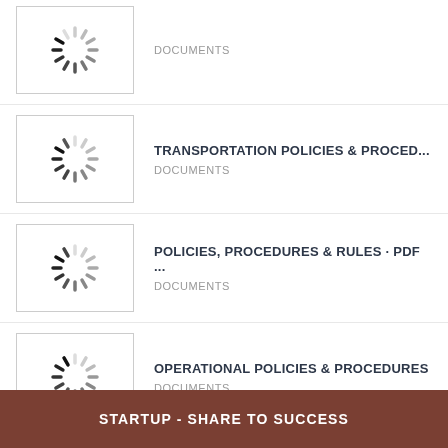DOCUMENTS
TRANSPORTATION POLICIES & PROCED...
DOCUMENTS
POLICIES, PROCEDURES & RULES · PDF ...
DOCUMENTS
OPERATIONAL POLICIES & PROCEDURES
DOCUMENTS
View More
STARTUP - SHARE TO SUCCESS